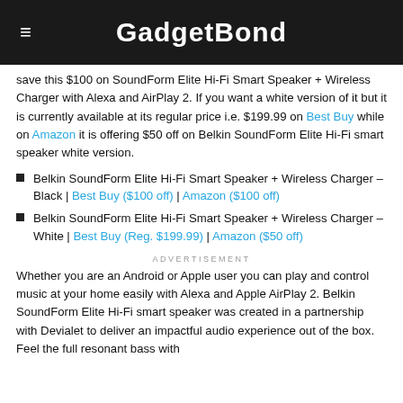GadgetBond
save this $100 on SoundForm Elite Hi-Fi Smart Speaker + Wireless Charger with Alexa and AirPlay 2. If you want a white version of it but it is currently available at its regular price i.e. $199.99 on Best Buy while on Amazon it is offering $50 off on Belkin SoundForm Elite Hi-Fi smart speaker white version.
Belkin SoundForm Elite Hi-Fi Smart Speaker + Wireless Charger – Black | Best Buy ($100 off) | Amazon ($100 off)
Belkin SoundForm Elite Hi-Fi Smart Speaker + Wireless Charger – White | Best Buy (Reg. $199.99) | Amazon ($50 off)
ADVERTISEMENT
Whether you are an Android or Apple user you can play and control music at your home easily with Alexa and Apple AirPlay 2. Belkin SoundForm Elite Hi-Fi smart speaker was created in a partnership with Devialet to deliver an impactful audio experience out of the box. Feel the full resonant bass with